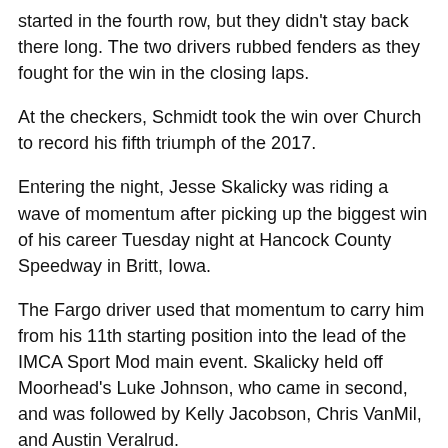started in the fourth row, but they didn't stay back there long. The two drivers rubbed fenders as they fought for the win in the closing laps.
At the checkers, Schmidt took the win over Church to record his fifth triumph of the 2017.
Entering the night, Jesse Skalicky was riding a wave of momentum after picking up the biggest win of his career Tuesday night at Hancock County Speedway in Britt, Iowa.
The Fargo driver used that momentum to carry him from his 11th starting position into the lead of the IMCA Sport Mod main event. Skalicky held off Moorhead's Luke Johnson, who came in second, and was followed by Kelly Jacobson, Chris VanMil, and Austin Veralrud.
Mike Anderson of Walcott started on the pole of the IMCA stock car feature and picked up the win over Horace's Rick Schulz. The win marks Anderson's first of the season at RRVS.